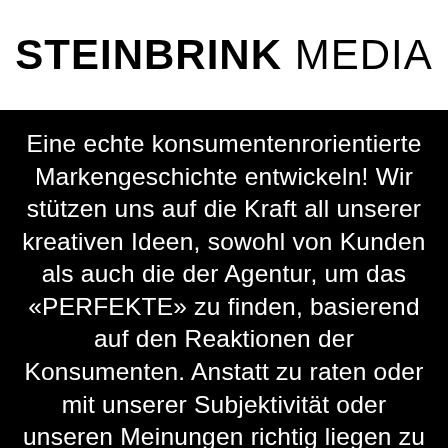STEINBRINK MEDIA
Eine echte konsumentenrorientierte Markengeschichte entwickeln! Wir stützen uns auf die Kraft all unserer kreativen Ideen, sowohl von Kunden als auch die der Agentur, um das «PERFEKTE» zu finden, basierend auf den Reaktionen der Konsumenten. Anstatt zu raten oder mit unserer Subjektivität oder unseren Meinungen richtig liegen zu müssen. Das Ergebnis: Eine leistungsstarke und kreative Markenbotschaft, die vom Konsu-